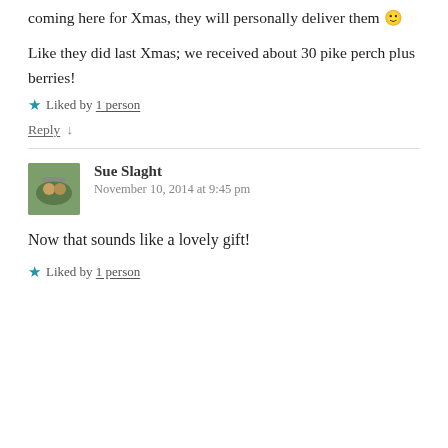coming here for Xmas, they will personally deliver them 🙂
Like they did last Xmas; we received about 30 pike perch plus berries!
Liked by 1 person
Reply ↓
Sue Slaght
November 10, 2014 at 9:45 pm
Now that sounds like a lovely gift!
Liked by 1 person